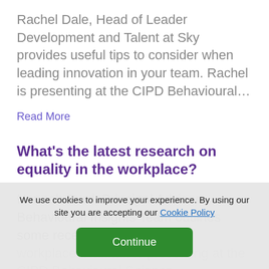Rachel Dale, Head of Leader Development and Talent at Sky provides useful tips to consider when leading innovation in your team. Rachel is presenting at the CIPD Behavioural…
Read More
What's the latest research on equality in the workplace?
Hannah Burd, Principal Advisor, Behavioural Insights Team outlines some recent research
workplace. Hannah is presenting at the CIPD Behavioural Science... conference which
We use cookies to improve your experience. By using our site you are accepting our Cookie Policy
Continue